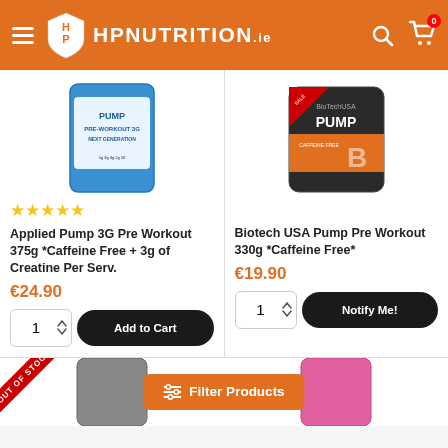HP NUTRITION.ie
[Figure (photo): Applied Pump 3G Pre Workout 375g product image - blue container]
★★★★★
Applied Pump 3G Pre Workout 375g *Caffeine Free + 3g of Creatine Per Serv.
€24.90
Add to Cart
[Figure (photo): Biotech USA Pump Pre Workout 330g product image - dark container with orange B logo]
Biotech USA Pump Pre Workout 330g *Caffeine Free*
€19.90
Notify Me!
OUT OF STOCK
Filter Products